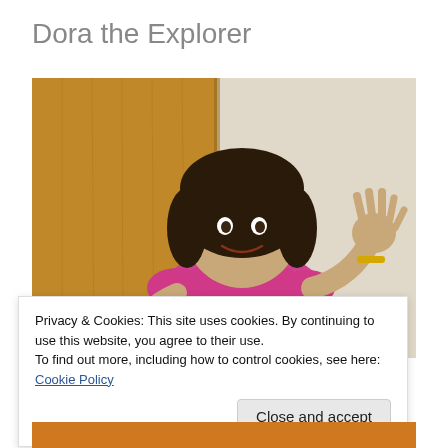Dora the Explorer
[Figure (photo): Woman cosplaying as Dora the Explorer, wearing a pink t-shirt, bob haircut, backpack straps visible, waving at the camera in front of a wooden door and light wall]
Privacy & Cookies: This site uses cookies. By continuing to use this website, you agree to their use.
To find out more, including how to control cookies, see here: Cookie Policy
Close and accept